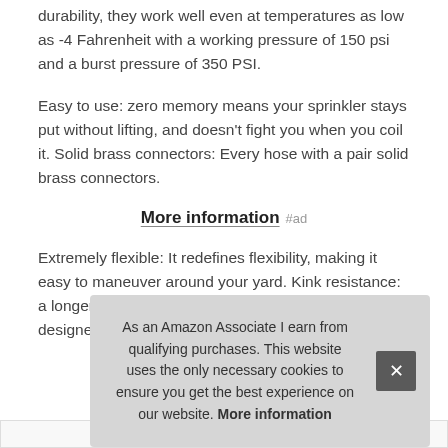durability, they work well even at temperatures as low as -4 Fahrenheit with a working pressure of 150 psi and a burst pressure of 350 PSI.
Easy to use: zero memory means your sprinkler stays put without lifting, and doesn't fight you when you coil it. Solid brass connectors: Every hose with a pair solid brass connectors.
More information #ad
Extremely flexible: It redefines flexibility, making it easy to maneuver around your yard. Kink resistance: a longer garden hose will be kink, but we have designed and increased the thic... inclu... proc...
As an Amazon Associate I earn from qualifying purchases. This website uses the only necessary cookies to ensure you get the best experience on our website. More information